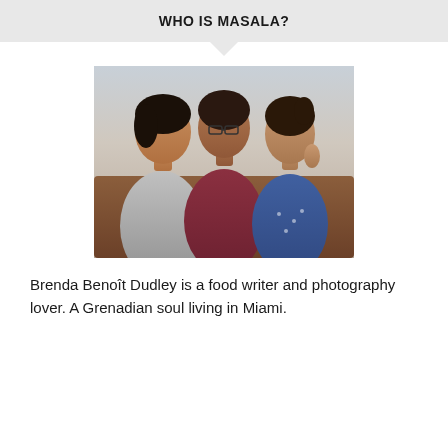WHO IS MASALA?
[Figure (photo): A woman and two girls smiling and posing together on a sofa. The woman in the center wears glasses and a colorful top. The girl on the left wears a gray top and the girl on the right wears a floral dress.]
Brenda Benoît Dudley is a food writer and photography lover. A Grenadian soul living in Miami.